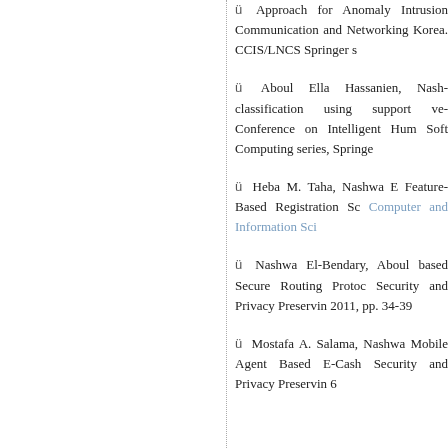Approach for Anomaly Intrusion Communication and Networking Korea. CCIS/LNCS Springer s
Aboul Ella Hassanien, Nash classification using support ve Conference on Intelligent Hum Soft Computing series, Springe
Heba M. Taha, Nashwa E Feature-Based Registration Sc Computer and Information Sci
Nashwa El-Bendary, Aboul based Secure Routing Protoc Security and Privacy Preservin 2011, pp. 34-39
Mostafa A. Salama, Nashwa Mobile Agent Based E-Cash Security and Privacy Preservin 6